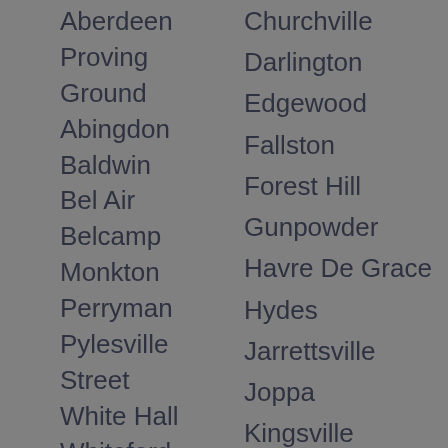Aberdeen Proving Ground
Abingdon
Baldwin
Bel Air
Belcamp
Monkton
Perryman
Pylesville
Street
White Hall
Whiteford
Churchville
Darlington
Edgewood
Fallston
Forest Hill
Gunpowder
Havre De Grace
Hydes
Jarrettsville
Joppa
Kingsville